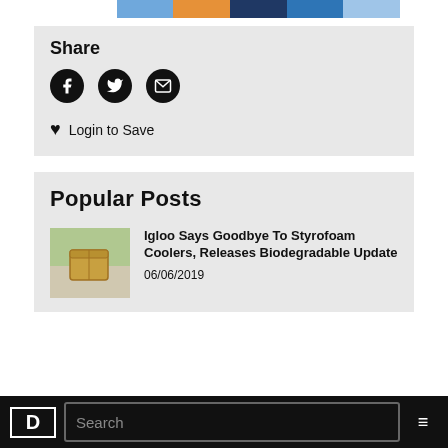[Figure (infographic): Color palette swatches: white, light blue, orange, dark blue, teal, sky blue]
Share
[Figure (infographic): Social share icons: Facebook, Twitter, Email]
Login to Save
Popular Posts
[Figure (photo): Thumbnail image of a biodegradable cooler]
Igloo Says Goodbye To Styrofoam Coolers, Releases Biodegradable Update
06/06/2019
D  Search  ≡